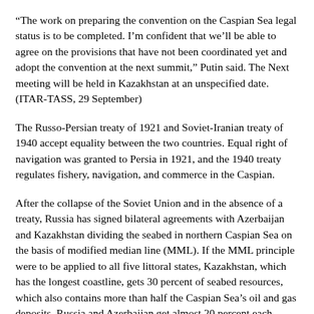“The work on preparing the convention on the Caspian Sea legal status is to be completed. I’m confident that we’ll be able to agree on the provisions that have not been coordinated yet and adopt the convention at the next summit,” Putin said. The Next meeting will be held in Kazakhstan at an unspecified date. (ITAR-TASS, 29 September)
The Russo-Persian treaty of 1921 and Soviet-Iranian treaty of 1940 accept equality between the two countries. Equal right of navigation was granted to Persia in 1921, and the 1940 treaty regulates fishery, navigation, and commerce in the Caspian.
After the collapse of the Soviet Union and in the absence of a treaty, Russia has signed bilateral agreements with Azerbaijan and Kazakhstan dividing the seabed in northern Caspian Sea on the basis of modified median line (MML). If the MML principle were to be applied to all five littoral states, Kazakhstan, which has the longest coastline, gets 30 percent of seabed resources, which also contains more than half the Caspian Sea’s oil and gas deposits. Russia and Azerbaijan get almost 20 percent each, Turkmenistan gets 17 percent, and Iran ends up with only 13 percent. It is believe that Iranian section would contain the least amount of oil and gas.
Iran has opposed such division and instead has called for equality of all five countries surrounding a geographic lake, not a sea;